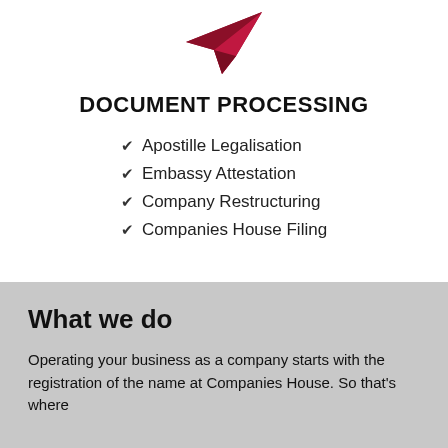[Figure (logo): Red paper plane / origami airplane logo icon pointing upper right]
DOCUMENT PROCESSING
Apostille Legalisation
Embassy Attestation
Company Restructuring
Companies House Filing
What we do
Operating your business as a company starts with the registration of the name at Companies House. So that's where